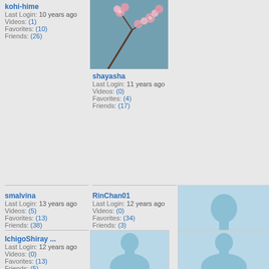kohi-hime
Last Login: 10 years ago
Videos: (1)
Favorites: (10)
Friends: (26)
[Figure (photo): Cherry blossom flowers photo - profile image for shayasha]
shayasha
Last Login: 11 years ago
Videos: (0)
Favorites: (4)
Friends: (17)
smalvina
Last Login: 13 years ago
Videos: (5)
Favorites: (13)
Friends: (38)
RinChan01
Last Login: 12 years ago
Videos: (0)
Favorites: (34)
Friends: (3)
[Figure (illustration): Default user silhouette placeholder for AhShee]
AhShee
Last Login: 13 years ago
Videos: (0)
Favorites: (0)
Friends: (1)
IchigoShiray ...
Last Login: 12 years ago
Videos: (0)
Favorites: (13)
Friends: (5)
[Figure (illustration): Default user silhouette placeholder (2nd column, bottom)]
[Figure (illustration): Default user silhouette placeholder (3rd column, bottom)]